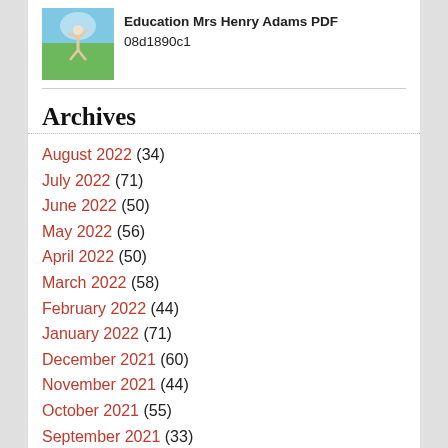[Figure (photo): Person jumping in a field of green grass under a blue sky]
Education Mrs Henry Adams PDF
08d1890c1
Archives
August 2022 (34)
July 2022 (71)
June 2022 (50)
May 2022 (56)
April 2022 (50)
March 2022 (58)
February 2022 (44)
January 2022 (71)
December 2021 (60)
November 2021 (44)
October 2021 (55)
September 2021 (33)
Best Links